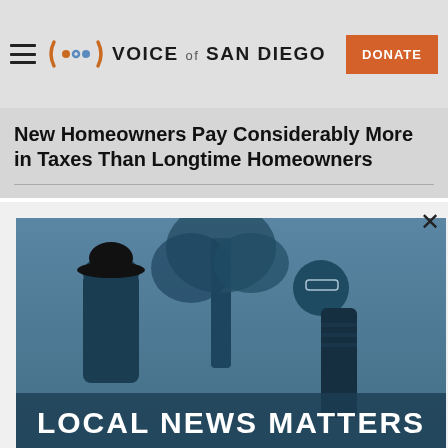VOICE of SAN DIEGO
New Homeowners Pay Considerably More in Taxes Than Longtime Homeowners
[Figure (photo): Two people talking outdoors near a tree, with a blue tint overlay and the text LOCAL NEWS MATTERS at the bottom]